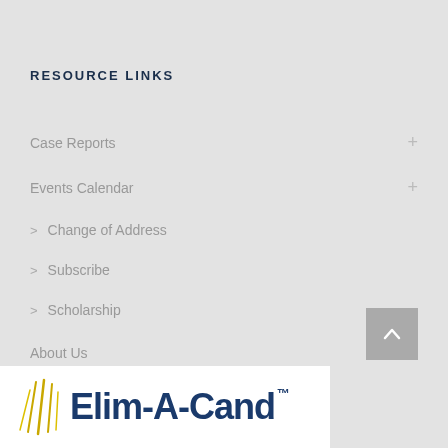RESOURCE LINKS
Case Reports
Events Calendar
> Change of Address
> Subscribe
> Scholarship
About Us
> CE
[Figure (logo): Elim-A-Cand logo with trademark symbol on white background with gold/yellow abstract lines]
Elim-A-Cand™